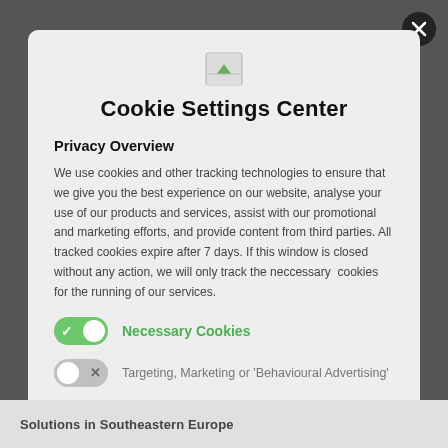[Figure (logo): Broken image placeholder / logo icon]
Cookie Settings Center
Privacy Overview
We use cookies and other tracking technologies to ensure that we give you the best experience on our website, analyse your use of our products and services, assist with our promotional and marketing efforts, and provide content from third parties. All tracked cookies expire after 7 days. If this window is closed without any action, we will only track the neccessary  cookies for the running of our services.
Necessary Cookies (toggle on)
Targeting, Marketing or 'Behavioural Advertising' (toggle off)
(third toggle off, partially visible)
Solutions in Southeastern Europe